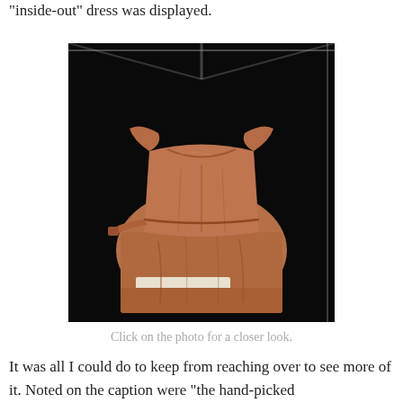“inside-out” dress was displayed.
[Figure (photo): A brown silk dress displayed inside-out in a glass case against a black background. The dress is sleeveless with gathered waist and a belt. A white label or strip is visible near the hem.]
Click on the photo for a closer look.
It was all I could do to keep from reaching over to see more of it. Noted on the caption were "the hand-picked